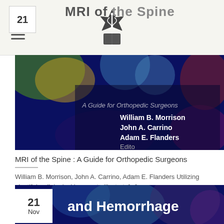MRI of the Spine
[Figure (photo): Book cover of 'MRI of the Spine: A Guide for Orthopedic Surgeons' with colorful bokeh background and authors William B. Morrison, John A. Carrino, Adam E. Flanders]
MRI of the Spine : A Guide for Orthopedic Surgeons
William B. Morrison, John A. Carrino, Adam E. Flanders Utilizing plentiful radiological images to illustrate[...]
[Figure (photo): Partial book cover showing text 'and Hemorrhage' with colorful bokeh background, with date badge showing 21 Nov]